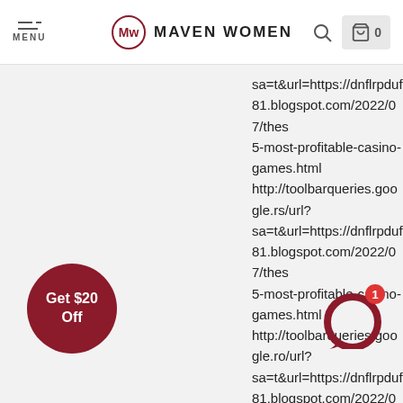MENU | MW MAVEN WOMEN | Search | Cart 0
sa=t&url=https://dnflrpduf81.blogspot.com/2022/07/thes 5-most-profitable-casino-games.html http://toolbarqueries.google.rs/url? sa=t&url=https://dnflrpduf81.blogspot.com/2022/07/thes 5-most-profitable-casino-games.html http://toolbarqueries.google.ro/url? sa=t&url=https://dnflrpduf81.blogspot.com/2022/07/thes 5-most-profitable-casino-games.html http://toolbarqueries.google.pl/url? sa=t&url=https://dnflrpduf81.blogspot.com/2022/07/thes 5-most-profitable-casino-games.html http://toolbarqueries.google.no/url? sa=t&url=https://dnflrpduf81.blogspot.com/2022/07/thes 5-most-profitable-casino-games.html http://toolbarqueries.google.nl/url? sa=t&url=https://dnflrpduf81.blogspot.com/2022/07/thes 5-most-profitable-casino-games.html http://toolbarqueries.google.lv/url? sa=t&url=https://dnflrpduf81.blogspot.com/2022/07/thes 5-most-profitable-casino-games.html http://toolbarqueries.google.lu/url?
Get $20 Off